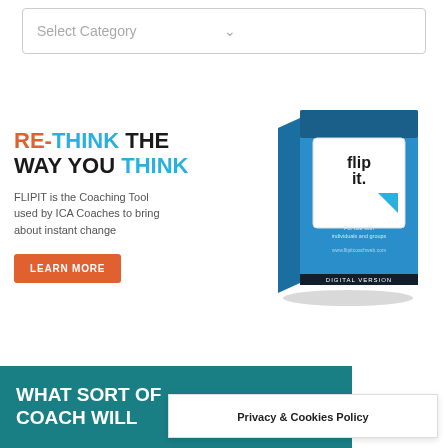[Figure (screenshot): Dropdown select box with label 'Select Category' and a down-arrow chevron on the right]
RE-THINK THE WAY YOU THINK
FLIPIT is the Coaching Tool used by ICA Coaches to bring about instant change
LEARN MORE
[Figure (illustration): Flip It. Coaching Workshop product box – blue box with 'flip it.' logo and text 'Coaching Workshop', 'For use with individuals and groups', 'DIGITAL VERSION']
WHAT SORT OF COACH WILL
Privacy & Cookies Policy